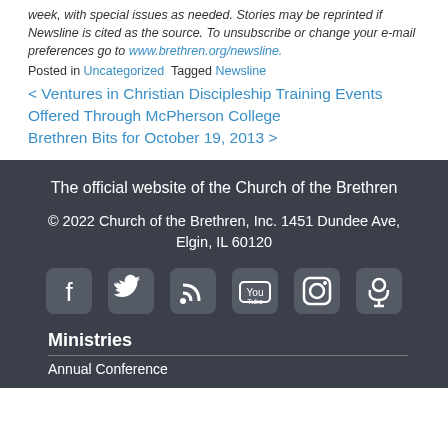week, with special issues as needed. Stories may be reprinted if Newsline is cited as the source. To unsubscribe or change your e-mail preferences go to www.brethren.org/newsline.
Posted in Uncategorized  Tagged Newsline
< Ventures in Christian Discipleship Training Events Offered Through McPherson College
Brethren Bits for October 19, 2013 >
The official website of the Church of the Brethren
© 2022 Church of the Brethren, Inc. 1451 Dundee Ave, Elgin, IL 60120
[Figure (infographic): Six social media icons: Facebook, Twitter, RSS, YouTube, Instagram, Podcast]
Ministries
Annual Conference